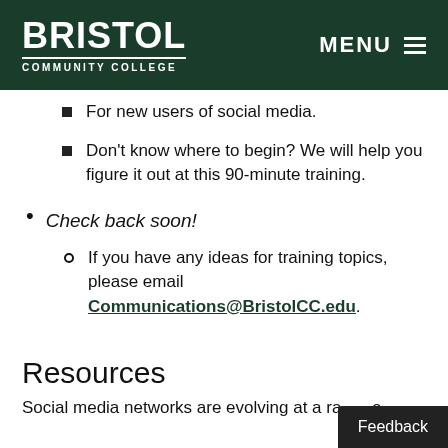BRISTOL COMMUNITY COLLEGE | MENU
For new users of social media.
Don't know where to begin? We will help you figure it out at this 90-minute training.
Check back soon!
If you have any ideas for training topics, please email Communications@BristolCC.edu.
Resources
Social media networks are evolving at a ra...s